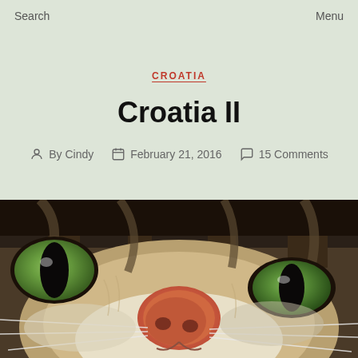Search   Menu
CROATIA
Croatia II
By Cindy   February 21, 2016   15 Comments
[Figure (photo): Close-up photo of a tabby cat's face showing green eyes, orange nose, and whiskers]